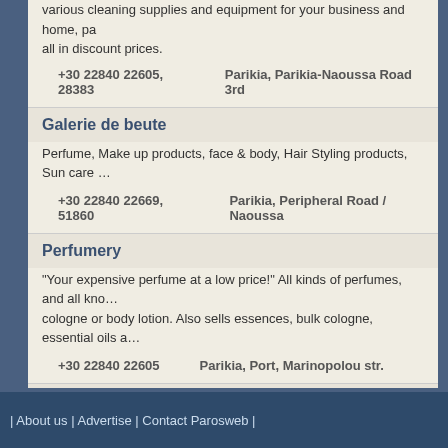various cleaning supplies and equipment for your business and home, pa... all in discount prices.
+30 22840 22605, 28383   Parikia, Parikia-Naoussa Road 3rd
Galerie de beute
Perfume, Make up products, face & body, Hair Styling products, Sun care ...
+30 22840 22669, 51860   Parikia, Peripheral Road / Naoussa
Perfumery
"Your expensive perfume at a low price!" All kinds of perfumes, and all kno... cologne or body lotion. Also sells essences, bulk cologne, essential oils a...
+30 22840 22605   Parikia, Port, Marinopolou str.
Yperorasi
Optics & contact lenses.
(Parikia) +30 22840 22211, (Naoussa) +30 22840 52463   Pari...
| About us | Advertise | Contact Parosweb |